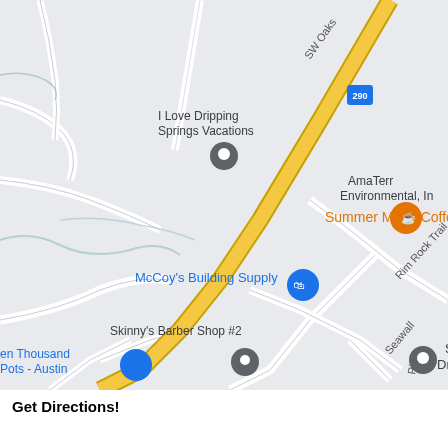[Figure (map): Google Maps screenshot showing area around US-290 in Dripping Springs, TX. Shows businesses including Summer Moon Coffee, I Love Dripping Springs Vacations, McCoy's Building Supply, Skinny's Barber Shop #2, Ten Thousand Pots - Austin, SiteOne Landscape Supply, Sodalis at Dripping Springs, AmaTerra Environmental Inc. Roads include SW Oaks, Rim Rock Trail, Seawall, and Pier streets. US-290 highway runs diagonally through the map.]
Get Directions!